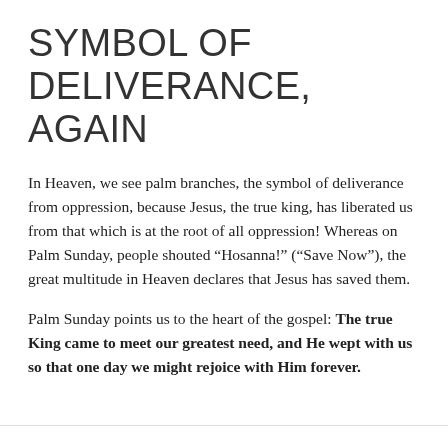SYMBOL OF DELIVERANCE, AGAIN
In Heaven, we see palm branches, the symbol of deliverance from oppression, because Jesus, the true king, has liberated us from that which is at the root of all oppression! Whereas on Palm Sunday, people shouted “Hosanna!” (“Save Now”), the great multitude in Heaven declares that Jesus has saved them.
Palm Sunday points us to the heart of the gospel: The true King came to meet our greatest need, and He wept with us so that one day we might rejoice with Him forever.